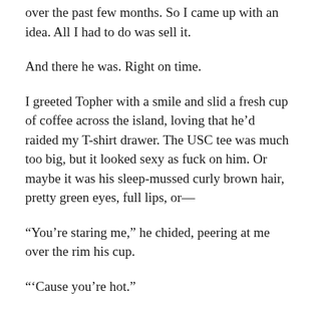over the past few months. So I came up with an idea. All I had to do was sell it.
And there he was. Right on time.
I greeted Topher with a smile and slid a fresh cup of coffee across the island, loving that he’d raided my T-shirt drawer. The USC tee was much too big, but it looked sexy as fuck on him. Or maybe it was his sleep-mussed curly brown hair, pretty green eyes, full lips, or—
“You’re staring me,” he chided, peering at me over the rim his cup.
“’Cause you’re hot.”
Topher snorted. “Come join me.”
“Nah, I’m good. Do you want anything to eat? I can make